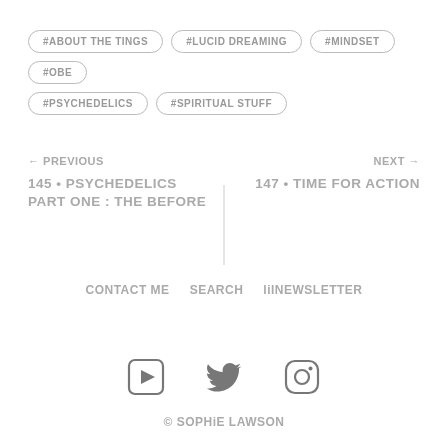#ABOUT THE TINGS
#LUCID DREAMING
#MINDSET
#OBE
#PSYCHEDELICS
#SPIRITUAL STUFF
← PREVIOUS
145 • PSYCHEDELICS PART ONE : THE BEFORE
NEXT →
147 • TIME FOR ACTION
CONTACT ME   SEARCH   liINEWSLETTER
[Figure (other): YouTube icon]
[Figure (other): Twitter icon]
[Figure (other): Instagram icon]
© SOPHiE LAWSON